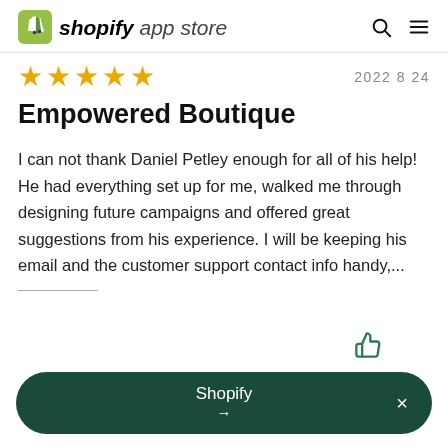shopify app store
2022 8 24
Empowered Boutique
I can not thank Daniel Petley enough for all of his help! He had everything set up for me, walked me through designing future campaigns and offered great suggestions from his experience. I will be keeping his email and the customer support contact info handy,...
Shopify →